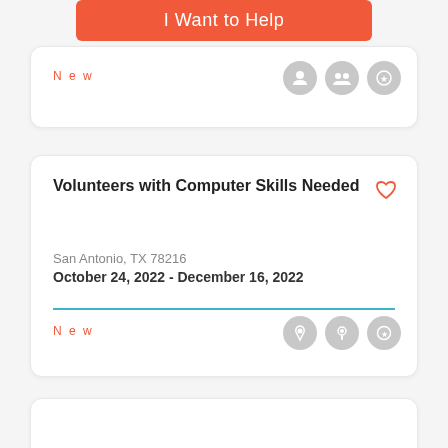I Want to Help
New
Volunteers with Computer Skills Needed
San Antonio, TX 78216
October 24, 2022 - December 16, 2022
New
More